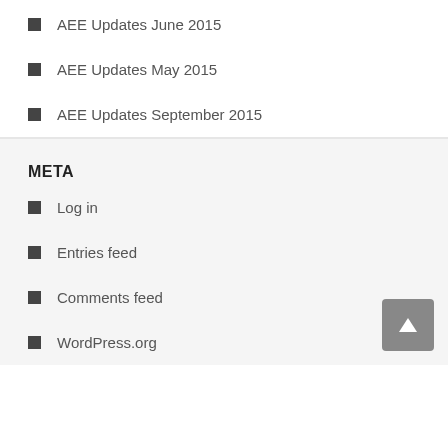AEE Updates June 2015
AEE Updates May 2015
AEE Updates September 2015
META
Log in
Entries feed
Comments feed
WordPress.org